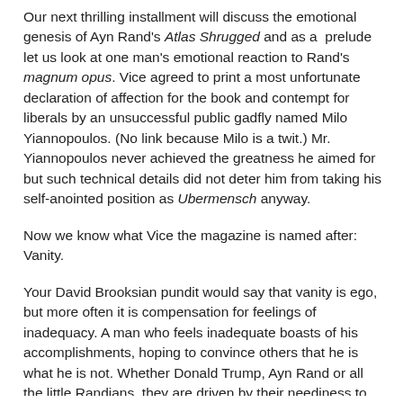Our next thrilling installment will discuss the emotional genesis of Ayn Rand's Atlas Shrugged and as a prelude let us look at one man's emotional reaction to Rand's magnum opus. Vice agreed to print a most unfortunate declaration of affection for the book and contempt for liberals by an unsuccessful public gadfly named Milo Yiannopoulos. (No link because Milo is a twit.) Mr. Yiannopoulos never achieved the greatness he aimed for but such technical details did not deter him from taking his self-anointed position as Ubermensch anyway.
Now we know what Vice the magazine is named after: Vanity.
Your David Brooksian pundit would say that vanity is ego, but more often it is compensation for feelings of inadequacy. A man who feels inadequate boasts of his accomplishments, hoping to convince others that he is what he is not. Whether Donald Trump, Ayn Rand or all the little Randians, they are driven by their neediness to grab what they were never given.